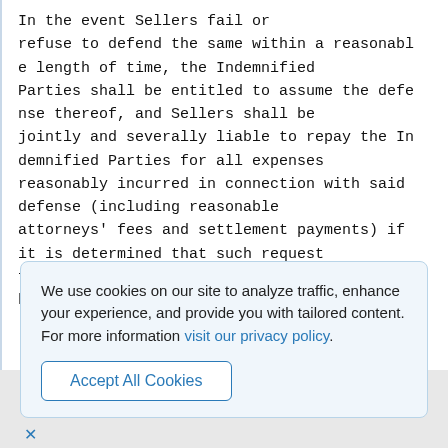In the event Sellers fail or refuse to defend the same within a reasonable length of time, the Indemnified Parties shall be entitled to assume the defense thereof, and Sellers shall be jointly and severally liable to repay the Indemnified Parties for all expenses reasonably incurred in connection with said defense (including reasonable attorneys' fees and settlement payments) if it is determined that such request for indemnification was proper. If Sellers shall not have the right to assume
We use cookies on our site to analyze traffic, enhance your experience, and provide you with tailored content.
For more information visit our privacy policy.